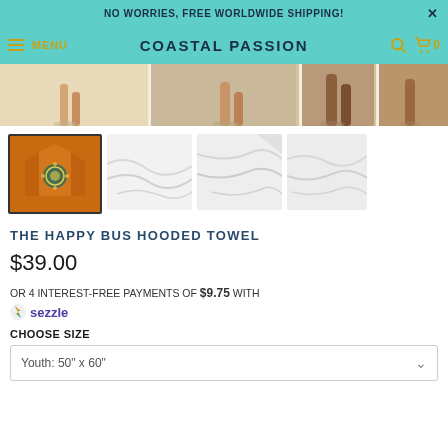NO WORRIES, FREE WORLDWIDE SHIPPING!
MENU  COASTAL PASSION  [search] [cart] 0
[Figure (photo): Beach scene showing feet and sand, cropped image strip]
[Figure (photo): Four product thumbnails: orange hooded towel (main selected), three white fabric close-up shots]
THE HAPPY BUS HOODED TOWEL
$39.00
OR 4 INTEREST-FREE PAYMENTS OF $9.75 WITH sezzle
CHOOSE SIZE
Youth: 50" x 60"